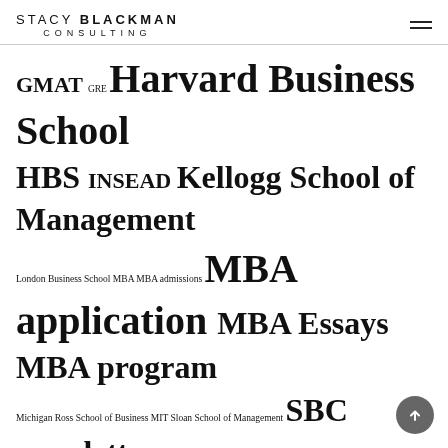STACY BLACKMAN CONSULTING
GMAT GRE Harvard Business School HBS INSEAD Kellogg School of Management London Business School MBA MBA admissions MBA application MBA Essays MBA program Michigan Ross School of Business MIT Sloan School of Management SBC newsletter School Selection Stanford Stanford Graduate School of Business Stanford GSB Tips Tuck School of Business UC Berkeley Haas UCLA Anderson School of Management US News Strictly Business Wharton Wharton School Yale School of Management Yale SOM